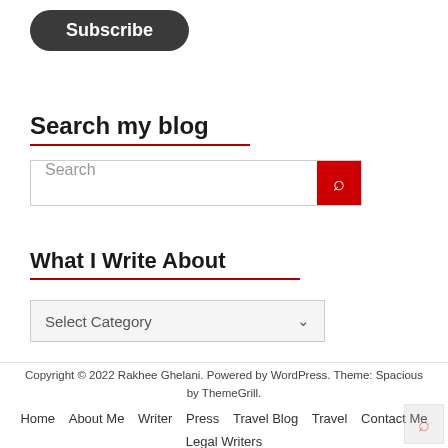[Figure (other): Dark rounded Subscribe button]
Search my blog
[Figure (other): Search input box with red search button icon]
What I Write About
[Figure (other): Select Category dropdown widget]
Copyright © 2022 Rakhee Ghelani. Powered by WordPress. Theme: Spacious by ThemeGrill.
Home  About Me  Writer  Press  Travel Blog  Travel  Contact Me  Legal Writers